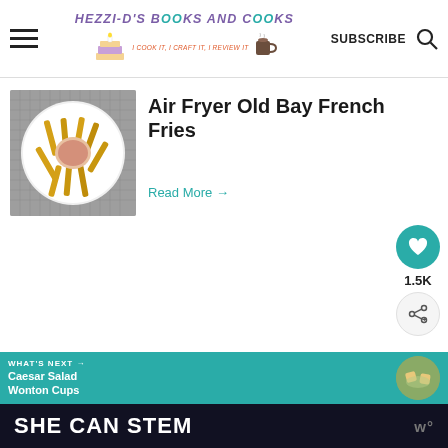HEZZI-D'S BOOKS AND COOKS — I COOK IT, I CRAFT IT, I REVIEW IT — SUBSCRIBE
[Figure (photo): Overhead photo of French fries on a white plate with dipping sauce, on a gray mesh surface]
Air Fryer Old Bay French Fries
Read More →
[Figure (infographic): Social sidebar with teal heart button showing 1.5K likes and a share button]
WHAT'S NEXT → Caesar Salad Wonton Cups
SHE CAN STEM